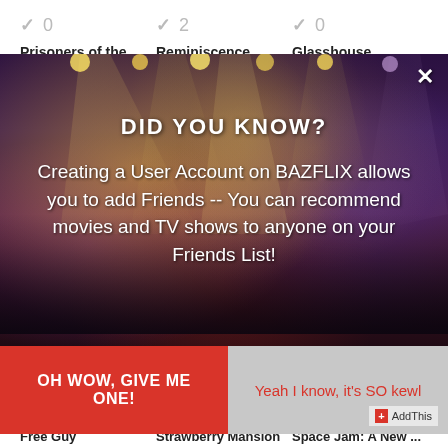✓ 0   ✓ 2   ✓ 0
Prisoners of the Gh...   Reminiscence   Glasshouse
[Figure (screenshot): A modal dialog popup over a concert/music venue background image showing a promotional message for BAZFLIX. The modal has a close button (×) in the top right, 'DID YOU KNOW?' heading, body text about creating a user account on BAZFLIX to add friends and recommend movies and TV shows. Two buttons at the bottom: red 'OH WOW, GIVE ME ONE!' and gray 'Yeah I know, it's SO kewl'. An AddThis badge is in the bottom right corner.]
Free Guy   Strawberry Mansion   Space Jam: A New ...